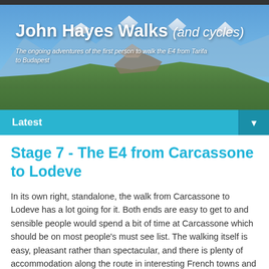[Figure (photo): Mountain landscape banner with alpine scenery — blue sky, mountain peaks with snow, green hillside meadow in foreground]
John Hayes Walks (and cycles)
The ongoing adventures of the first person to walk the E4 from Tarifa to Budapest
Latest ▼
Stage 7 - The E4 from Carcassone to Lodeve
In its own right, standalone, the walk from Carcassone to Lodeve has a lot going for it.  Both ends are easy to get to and sensible people would spend a bit of time at Carcassone which should be on most people's must see list.  The walking itself is easy, pleasant rather than spectacular, and there is plenty of accommodation along the route in interesting French towns and villages.   The only downside is the long trip from Carcassonne to Mazamet